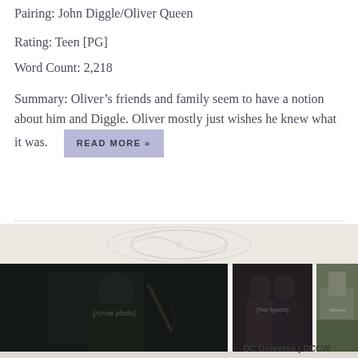Pairing: John Diggle/Oliver Queen
Rating: Teen [PG]
Word Count: 2,218
Summary: Oliver’s friends and family seem to have a notion about him and Diggle. Oliver mostly just wishes he knew what it was.
READ MORE »
[Figure (photo): Green Arrow character in dark hooded costume holding a bow, dramatic action pose]
[Figure (photo): Two hooded Arrow characters standing together in a dark interior setting]
[Figure (photo): Aerial view of a large English manor house with formal gardens]
DC Universe | DCCW